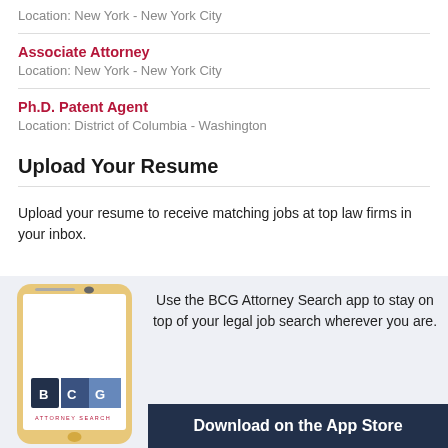Location: New York - New York City
Associate Attorney
Location: New York - New York City
Ph.D. Patent Agent
Location: District of Columbia - Washington
Upload Your Resume
Upload your resume to receive matching jobs at top law firms in your inbox.
[Figure (infographic): BCG Attorney Search mobile app advertisement banner showing a smartphone with BCG logo, text about staying on top of legal job search, and a Download on the App Store button.]